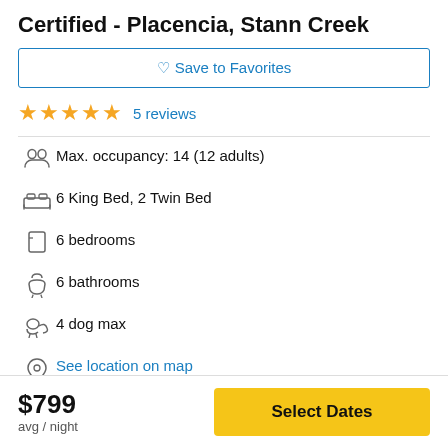Certified - Placencia, Stann Creek
♡ Save to Favorites
★★★★★ 5 reviews
Max. occupancy: 14 (12 adults)
6 King Bed, 2 Twin Bed
6 bedrooms
6 bathrooms
4 dog max
See location on map
Address provided after booking
$799 avg / night
Select Dates